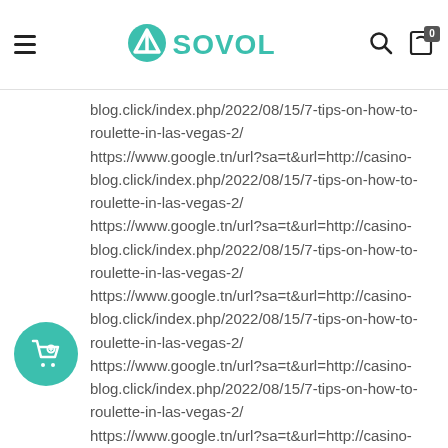SOVOL
blog.click/index.php/2022/08/15/7-tips-on-how-to-roulette-in-las-vegas-2/ https://www.google.tn/url?sa=t&url=http://casino-blog.click/index.php/2022/08/15/7-tips-on-how-to-roulette-in-las-vegas-2/ https://www.google.tn/url?sa=t&url=http://casino-blog.click/index.php/2022/08/15/7-tips-on-how-to-roulette-in-las-vegas-2/ https://www.google.tn/url?sa=t&url=http://casino-blog.click/index.php/2022/08/15/7-tips-on-how-to-roulette-in-las-vegas-2/ https://www.google.tn/url?sa=t&url=http://casino-blog.click/index.php/2022/08/15/7-tips-on-how-to-roulette-in-las-vegas-2/ https://www.google.tn/url?sa=t&url=http://casino-blog.click/index.php/2022/08/15/7-tips-on-how-to